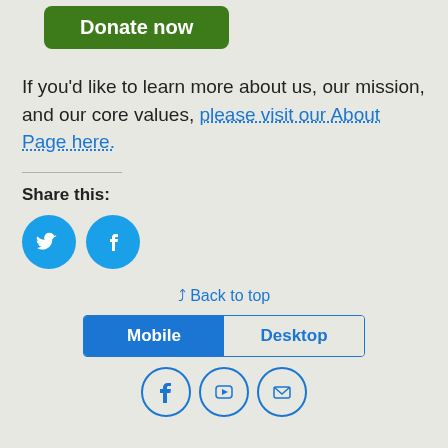[Figure (other): Green rounded rectangle Donate now button]
If you'd like to learn more about us, our mission, and our core values, please visit our About Page here.
Share this:
[Figure (other): Twitter and Facebook circular social share buttons in cyan/blue]
Back to top
[Figure (other): Mobile / Desktop toggle bar with Mobile selected in blue]
[Figure (other): Footer social icons: Facebook, YouTube, Email in outlined circles]